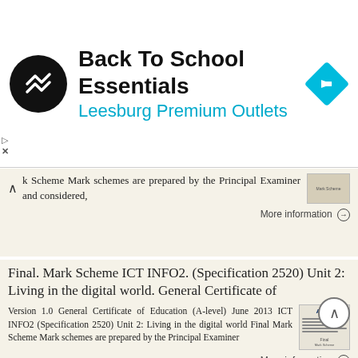[Figure (screenshot): Advertisement banner for Back To School Essentials at Leesburg Premium Outlets, showing a circular black logo with a double-arrow symbol, the store name in large bold text, subtitle in cyan, and a blue navigation/directions diamond icon on the right.]
k Scheme Mark schemes are prepared by the Principal Examiner and considered,
More information →
Final. Mark Scheme ICT INFO2. (Specification 2520) Unit 2: Living in the digital world. General Certificate of
Version 1.0 General Certificate of Education (A-level) June 2013 ICT INFO2 (Specification 2520) Unit 2: Living in the digital world Final Mark Scheme Mark schemes are prepared by the Principal Examiner
More information →